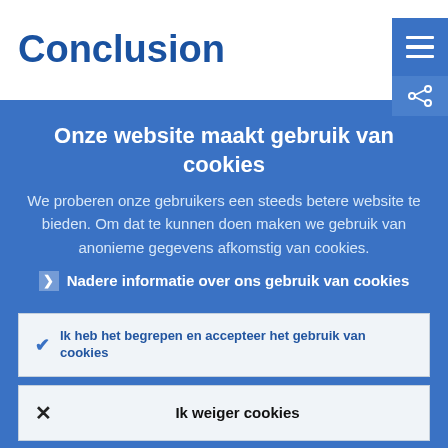Conclusion
Onze website maakt gebruik van cookies
We proberen onze gebruikers een steeds betere website te bieden. Om dat te kunnen doen maken we gebruik van anonieme gegevens afkomstig van cookies.
Nadere informatie over ons gebruik van cookies
Ik heb het begrepen en accepteer het gebruik van cookies
Ik weiger cookies